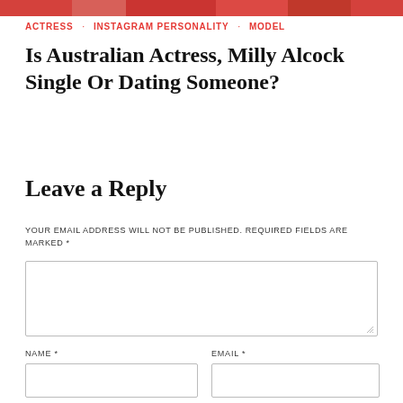[Figure (photo): Partial top strip of a colorful photo collage, cropped at the top of the page]
ACTRESS · INSTAGRAM PERSONALITY · MODEL
Is Australian Actress, Milly Alcock Single Or Dating Someone?
Leave a Reply
YOUR EMAIL ADDRESS WILL NOT BE PUBLISHED. REQUIRED FIELDS ARE MARKED *
NAME *
EMAIL *